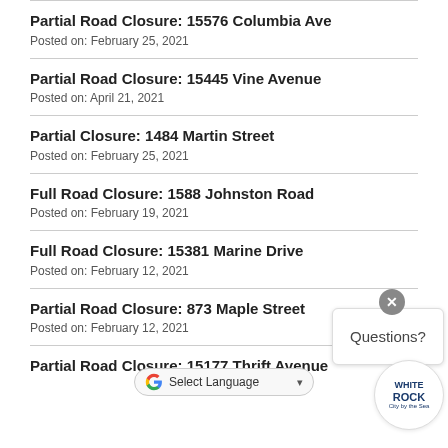Partial Road Closure: 15576 Columbia Ave
Posted on: February 25, 2021
Partial Road Closure: 15445 Vine Avenue
Posted on: April 21, 2021
Partial Closure: 1484 Martin Street
Posted on: February 25, 2021
Full Road Closure: 1588 Johnston Road
Posted on: February 19, 2021
Full Road Closure: 15381 Marine Drive
Posted on: February 12, 2021
Partial Road Closure: 873 Maple Street
Posted on: February 12, 2021
Partial Road Closure: 15177 Thrift Avenue